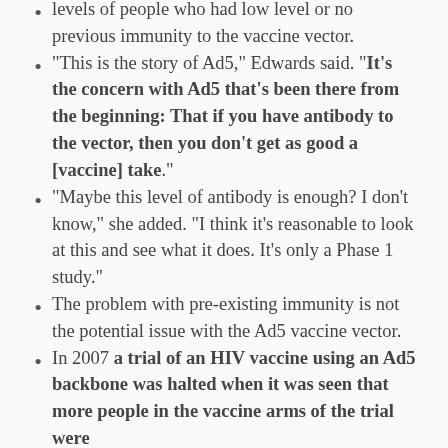levels of people who had low level or no previous immunity to the vaccine vector.
"This is the story of Ad5," Edwards said. "It's the concern with Ad5 that's been there from the beginning: That if you have antibody to the vector, then you don't get as good a [vaccine] take".
"Maybe this level of antibody is enough? I don't know," she added. "I think it's reasonable to look at this and see what it does. It's only a Phase 1 study."
The problem with pre-existing immunity is not the potential issue with the Ad5 vaccine vector.
In 2007 a trial of an HIV vaccine using an Ad5 backbone was halted when it was seen that more people in the vaccine arms of the trial were